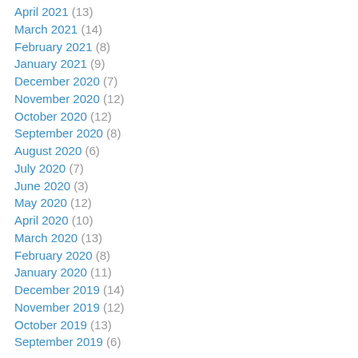April 2021 (13)
March 2021 (14)
February 2021 (8)
January 2021 (9)
December 2020 (7)
November 2020 (12)
October 2020 (12)
September 2020 (8)
August 2020 (6)
July 2020 (7)
June 2020 (3)
May 2020 (12)
April 2020 (10)
March 2020 (13)
February 2020 (8)
January 2020 (11)
December 2019 (14)
November 2019 (12)
October 2019 (13)
September 2019 (6)